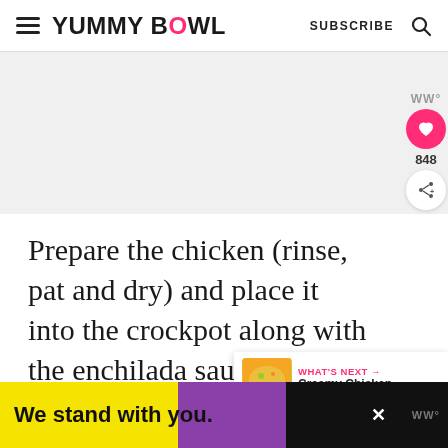YUMMY BOWL  SUBSCRIBE
[Figure (screenshot): Gray advertisement placeholder area]
Prepare the chicken (rinse, pat and dry) and place it into the crockpot along with the enchilada sauce.
[Figure (infographic): What's Next card showing Creamy Chicken... thumbnail with food image]
We stand with you.